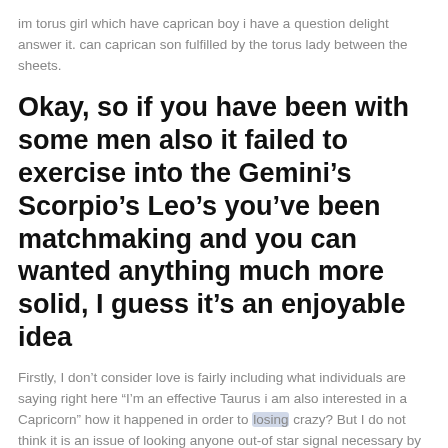im torus girl which have caprican boy i have a question delight answer it. can caprican son fulfilled by the torus lady between the sheets.
Okay, so if you have been with some men also it failed to exercise into the Gemini’s Scorpio’s Leo’s you’ve been matchmaking and you can wanted anything much more solid, I guess it’s an enjoyable idea
Firstly, I don’t consider love is fairly including what individuals are saying right here “I’m an effective Taurus i am also interested in a Capricorn” how it happened in order to losing crazy? But I do not think it is an issue of looking anyone out-of star signal necessary by a keen astrological site, but it’s worthwhile considering…